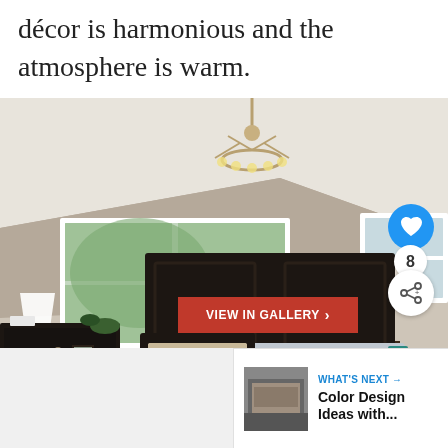décor is harmonious and the atmosphere is warm.
[Figure (photo): Interior photo of a master bedroom with taupe walls, vaulted ceiling, chandelier, large windows, dark wood furniture including a bed with gray bedding, two nightstands with lamps, a sitting chair, and a small side table. Overlays include a red 'VIEW IN GALLERY' button, a blue heart/like button, a count badge showing '8', and a share button.]
WHAT'S NEXT →
Color Design Ideas with...